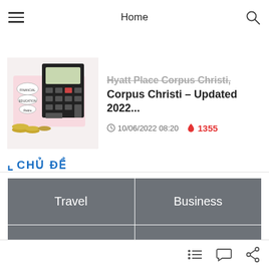Home
[Figure (screenshot): Article card with image of calculator and coins with financial planning mind map, title: Hyatt Place Corpus Christi, Corpus Christi – Updated 2022..., date: 10/06/2022 08:20, views: 1355]
CHỦ ĐỀ
| Travel | Business |
| Banking | Cars |